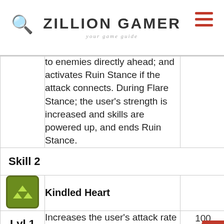ZILLION GAMER
your game guide
|  | Description |  |
| --- | --- | --- |
|  | to enemies directly ahead; and activates Ruin Stance if the attack connects. During Flare Stance; the user's strength is increased and skills are powered up, and ends Ruin Stance. |  |
| Skill 2 |  |  |
| [icon] | Kindled Heart |  |
| Lvl 1 | Increases the user's attack rate by 15% for 10 seconds. | 100 Might |